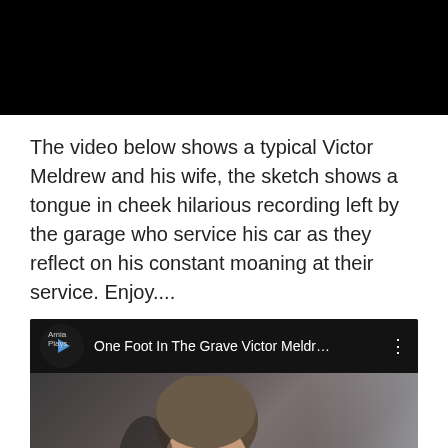[Figure (screenshot): Black bar / video header area at top of page]
The video below shows a typical Victor Meldrew and his wife, the sketch shows a tongue in cheek hilarious recording left by the garage who service his car as they reflect on his constant moaning at their service. Enjoy....
[Figure (screenshot): YouTube-style embedded video thumbnail showing 'One Foot In The Grave Victor Meldr...' with play button, channel label 'Amia Plays', three-dot menu, and a video still of an older woman's face. A teal 'TOP' button with upward arrow is overlaid in the bottom-right corner.]